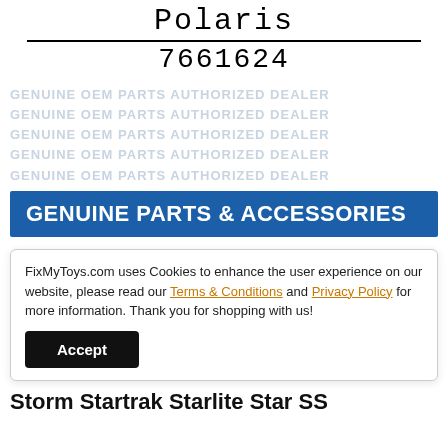Polaris
7661624
[Figure (other): Repeated watermark text: GENUINE OEM PARTS AUTHORIZED DEALER]
[Figure (other): Blue banner: GENUINE PARTS & ACCESSORIES]
FixMyToys.com uses Cookies to enhance the user experience on our website, please read our Terms & Conditions and Privacy Policy for more information. Thank you for shopping with us!
Accept
Storm Startrak Starlite Star SS